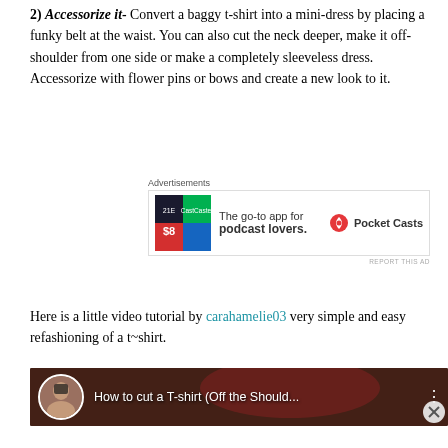2) Accessorize it- Convert a baggy t-shirt into a mini-dress by placing a funky belt at the waist. You can also cut the neck deeper, make it off-shoulder from one side or make a completely sleeveless dress. Accessorize with flower pins or bows and create a new look to it.
[Figure (infographic): Pocket Casts advertisement: 'The go-to app for podcast lovers.' with app logo and brand name]
Here is a little video tutorial by carahamelie03 very simple and easy refashioning of a t~shirt.
[Figure (screenshot): YouTube video thumbnail: 'How to cut a T-shirt (Off the Should...' with channel avatar of a woman]
[Figure (infographic): Advertisement: 'Create surveys, polls, quizzes, and forms.' with WordPress and Survey logos]